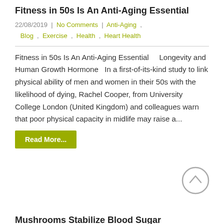Fitness in 50s Is An Anti-Aging Essential
22/08/2019 | No Comments | Anti-Aging , Blog , Exercise , Health , Heart Health
Fitness in 50s Is An Anti-Aging Essential    Longevity and Human Growth Hormone   In a first-of-its-kind study to link physical ability of men and women in their 50s with the likelihood of dying, Rachel Cooper, from University College London (United Kingdom) and colleagues warn that poor physical capacity in midlife may raise a...
Read More...
Mushrooms Stabilize Blood Sugar